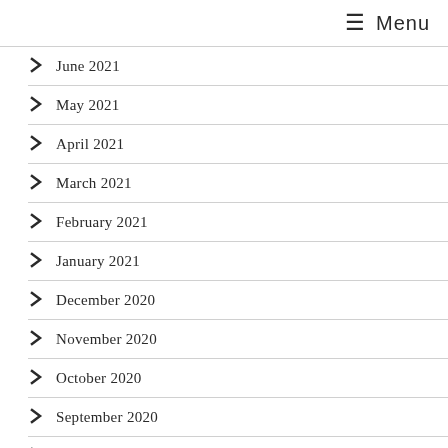≡ Menu
June 2021
May 2021
April 2021
March 2021
February 2021
January 2021
December 2020
November 2020
October 2020
September 2020
August 2020